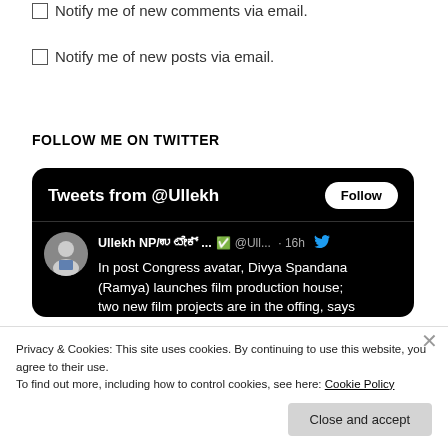Notify me of new comments via email.
Notify me of new posts via email.
FOLLOW ME ON TWITTER
[Figure (screenshot): Twitter widget showing 'Tweets from @Ullekh' with a Follow button, and a tweet from Ullekh NP saying 'In post Congress avatar, Divya Spandana (Ramya) launches film production house; two new film projects are in the offing, says']
Privacy & Cookies: This site uses cookies. By continuing to use this website, you agree to their use. To find out more, including how to control cookies, see here: Cookie Policy
Close and accept